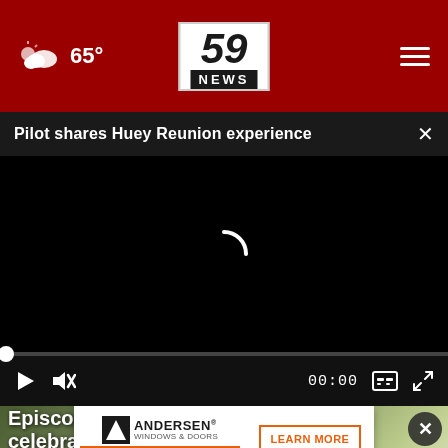65° | 59 NEWS
Pilot shares Huey Reunion experience
[Figure (screenshot): Black video player with loading spinner (white arc), progress bar at bottom left, playback controls including play button, mute button, timestamp 00:00, captions button, and fullscreen button on dark control bar]
Episcopal celebrates inc... Labor ...
Sunflower Festival Anderson
[Figure (logo): Andersen Windows & Doors 400 Series advertisement banner with orange accent and Learn More button]